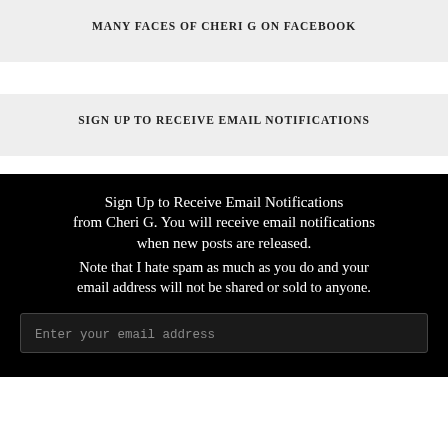MANY FACES OF CHERI G ON FACEBOOK
SIGN UP TO RECEIVE EMAIL NOTIFICATIONS
Sign Up to Receive Email Notifications from Cheri G. You will receive email notifications when new posts are released. Note that I hate spam as much as you do and your email address will not be shared or sold to anyone.
Enter your email address